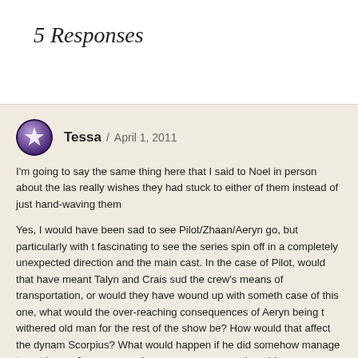5 Responses
Tessa / April 1, 2011
I'm going to say the same thing here that I said to Noel in person about the las really wishes they had stuck to either of them instead of just hand-waving them
Yes, I would have been sad to see Pilot/Zhaan/Aeryn go, but particularly with t fascinating to see the series spin off in a completely unexpected direction and the main cast. In the case of Pilot, would that have meant Talyn and Crais sud the crew's means of transportation, or would they have wound up with someth case of this one, what would the over-reaching consequences of Aeryn being t withered old man for the rest of the show be? How would that affect the dynam Scorpius? What would happen if he did somehow manage to get home, for rea man where everyone remembers him as so much younger?
Again, would miss whatever character they did away with, and for the most pa entire crew still alive (and there's one character in particular I desperately hope landing on him for the "permanent-death" thing *cough*Rygel*cough*). But the